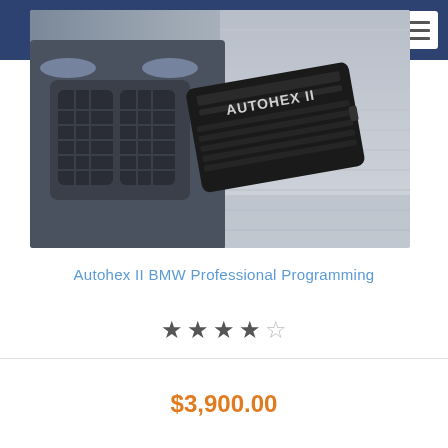[Figure (photo): Product photo showing Autohex II device (black rectangular device with AUTOHEX II branding) placed in front of a BMW car front grille, on a light surface with metal wall in background.]
Autohex II BMW Professional Programming
★★★★☆
$3,900.00